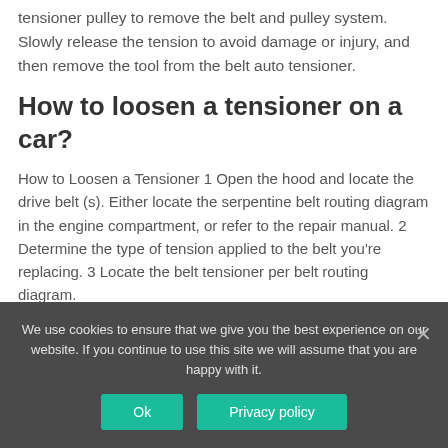tensioner pulley to remove the belt and pulley system. Slowly release the tension to avoid damage or injury, and then remove the tool from the belt auto tensioner.
How to loosen a tensioner on a car?
How to Loosen a Tensioner 1 Open the hood and locate the drive belt (s). Either locate the serpentine belt routing diagram in the engine compartment, or refer to the repair manual. 2 Determine the type of tension applied to the belt you're replacing. 3 Locate the belt tensioner per belt routing diagram.
How do you loosen tension on a drive belt?
We use cookies to ensure that we give you the best experience on our website. If you continue to use this site we will assume that you are happy with it.